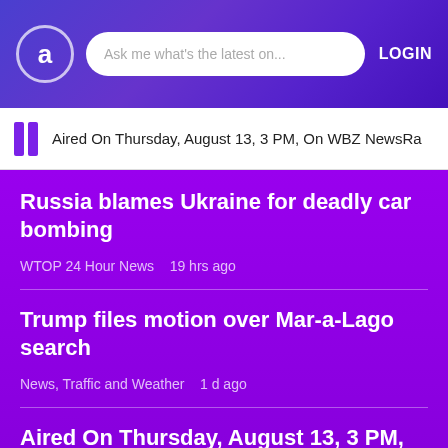Ask me what's the latest on...  LOGIN
Aired On Thursday, August 13, 3 PM, On WBZ NewsRa...
Russia blames Ukraine for deadly car bombing
WTOP 24 Hour News   19 hrs ago
Trump files motion over Mar-a-Lago search
News, Traffic and Weather   1 d ago
Aired On Thursday, August 13, 3 PM, On WBZ NewsRadio 1030.
WBZ Midday News   2 years ago   listened